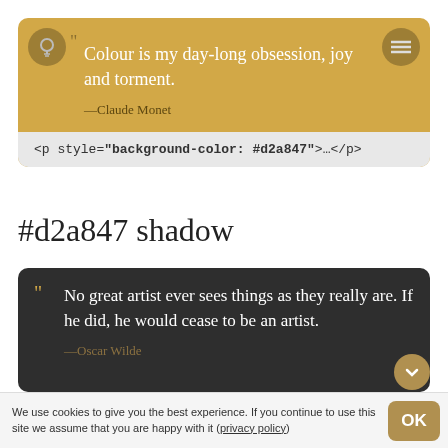[Figure (screenshot): Golden/yellow quote card with light bulb icon and menu icon. Quote: 'Colour is my day-long obsession, joy and torment. —Claude Monet'. Below: code bar showing <p style="background-color: #d2a847">…</p>]
<p style="background-color: #d2a847">…</p>
#d2a847 shadow
[Figure (screenshot): Dark grey quote card. Quote: 'No great artist ever sees things as they really are. If he did, he would cease to be an artist. —Oscar Wilde']
We use cookies to give you the best experience. If you continue to use this site we assume that you are happy with it (privacy policy)